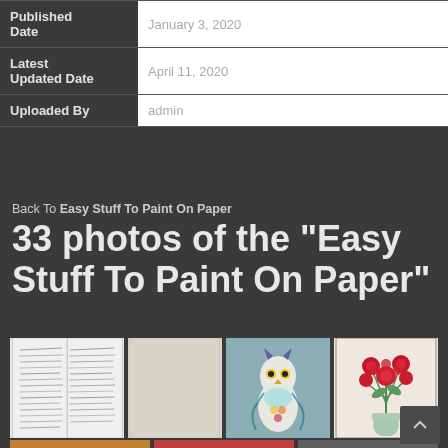| Field | Value |
| --- | --- |
| Published Date | January 3, 2020 |
| Latest Updated Date | April 11, 2020 |
| Uploaded By | admin |
Back To Easy Stuff To Paint On Paper
33 photos of the "Easy Stuff To Paint On Paper"
[Figure (photo): Grid of four thumbnail photos related to Easy Stuff To Paint On Paper: handwritten notes page, blank beige paper, colorful owl painting on blue background, red flowers bouquet in vase]
[Figure (photo): Partial bottom row of thumbnail photos, partially visible]